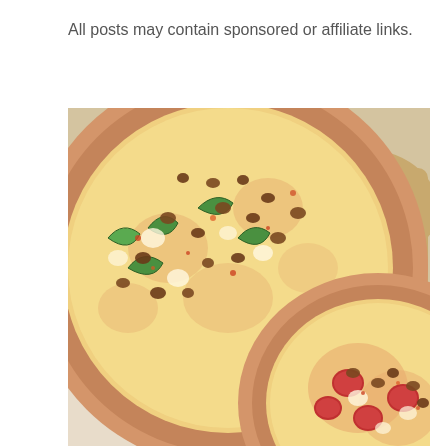All posts may contain sponsored or affiliate links.
[Figure (photo): Two pizzas with toppings including green peppers, sausage crumbles, and cheese on a wooden pizza peel. The top pizza has green peppers and sausage. The bottom right pizza has pepperoni and sausage.]